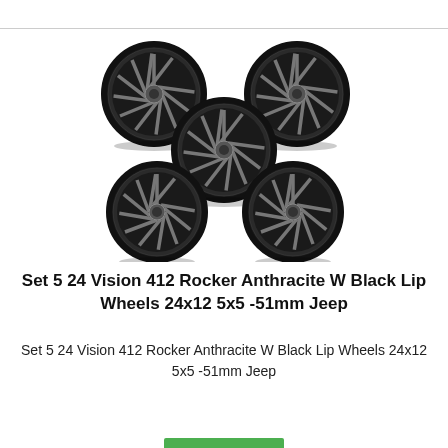[Figure (photo): Five anthracite and black lip Vision 412 Rocker wheels (24x12) arranged in a quincunx pattern — two on top, one in the center, two on the bottom — showing the multi-spoke dark machined face design with black outer lip.]
Set 5 24 Vision 412 Rocker Anthracite W Black Lip Wheels 24x12 5x5 -51mm Jeep
Set 5 24 Vision 412 Rocker Anthracite W Black Lip Wheels 24x12 5x5 -51mm Jeep